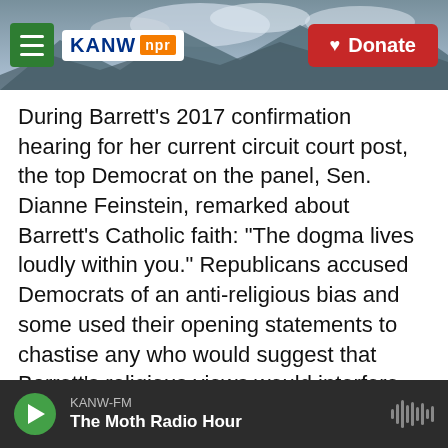[Figure (screenshot): KANW NPR radio station website header with mountain/sky background, green hamburger menu button, KANW NPR logo, and red Donate button]
During Barrett's 2017 confirmation hearing for her current circuit court post, the top Democrat on the panel, Sen. Dianne Feinstein, remarked about Barrett's Catholic faith: "The dogma lives loudly within you." Republicans accused Democrats of an anti-religious bias and some used their opening statements to chastise any who would suggest that Barrett's religious views would interfere with her job as a judge.
Ernst told Barrett that opponents were "attacking your faith and your precious family ... attacking you as a mom and a woman of faith." But Democrats,
KANW-FM | The Moth Radio Hour